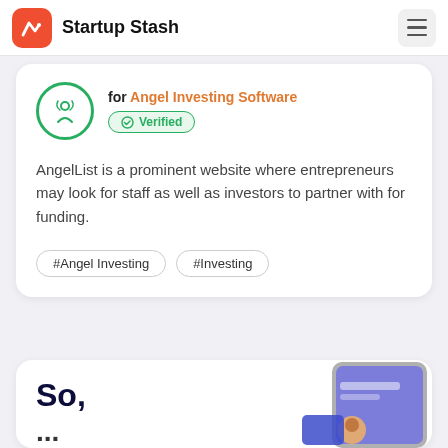Startup Stash
for Angel Investing Software
Verified
AngelList is a prominent website where entrepreneurs may look for staff as well as investors to partner with for funding.
#Angel Investing
#Investing
So,